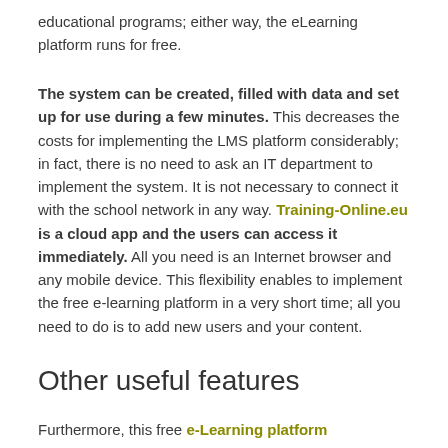educational programs; either way, the eLearning platform runs for free.
The system can be created, filled with data and set up for use during a few minutes. This decreases the costs for implementing the LMS platform considerably; in fact, there is no need to ask an IT department to implement the system. It is not necessary to connect it with the school network in any way. Training-Online.eu is a cloud app and the users can access it immediately. All you need is an Internet browser and any mobile device. This flexibility enables to implement the free e-learning platform in a very short time; all you need to do is to add new users and your content.
Other useful features
Furthermore, this free e-Learning platform